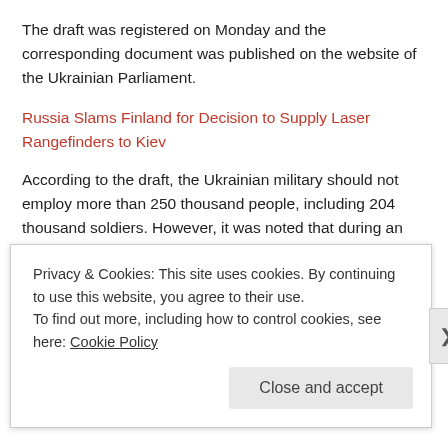The draft was registered on Monday and the corresponding document was published on the website of the Ukrainian Parliament.
Russia Slams Finland for Decision to Supply Laser Rangefinders to Kiev
According to the draft, the Ukrainian military should not employ more than 250 thousand people, including 204 thousand soldiers. However, it was noted that during an emergency the military may be strengthened with conscription.
“The size of the Ukrainian Armed Forces in emergencies shall grow by the number of servicemen recruited for military service
Privacy & Cookies: This site uses cookies. By continuing to use this website, you agree to their use.
To find out more, including how to control cookies, see here: Cookie Policy
Close and accept